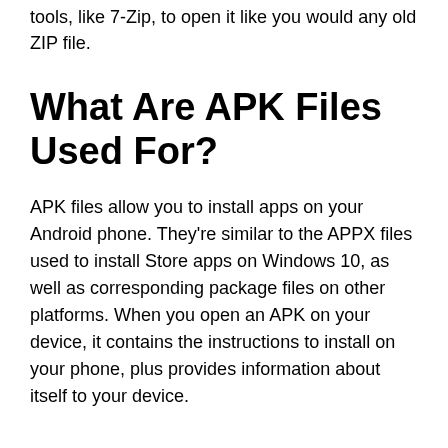tools, like 7-Zip, to open it like you would any old ZIP file.
What Are APK Files Used For?
APK files allow you to install apps on your Android phone. They're similar to the APPX files used to install Store apps on Windows 10, as well as corresponding package files on other platforms. When you open an APK on your device, it contains the instructions to install on your phone, plus provides information about itself to your device.